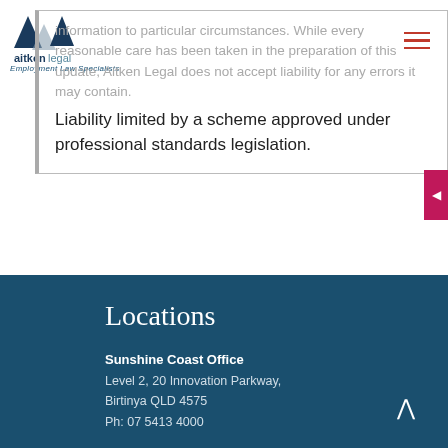[Figure (logo): Aitken Legal logo with triangular geometric mark and text 'aitkenlegal Employment Law Specialists']
information to particular circumstances. While every reasonable care has been taken in the preparation of this update, Aitken Legal does not accept liability for any errors it may contain.
Liability limited by a scheme approved under professional standards legislation.
Locations
Sunshine Coast Office
Level 2, 20 Innovation Parkway,
Birtinya QLD 4575
Ph: 07 5413 4000